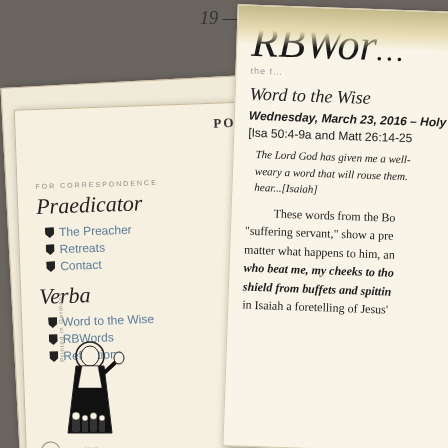RBWord
FOR CORRESPONDENCE
Praedicator
The Preacher
Retreats
Contact
Verba
Word to the Wise
RBWords
Reflections
Word to the Wise
Wednesday, March 23, 2016 - Holy W
[Isa 50:4-9a and Matt 26:14-25
The Lord God has given me a well- weary a word that will rouse them. hear...[Isaiah]
These words from the Bo "suffering servant," show a pre matter what happens to him, an who beat me, my cheeks to tho shield from buffets and spittin in Isaiah a foretelling of Jesus'